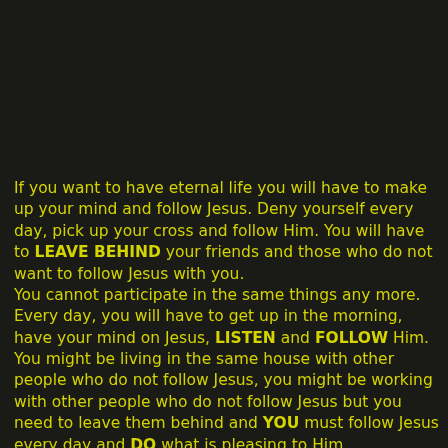If you want to have eternal life you will have to make up your mind and follow Jesus. Deny yourself every day, pick up your cross and follow Him. You will have to LEAVE BEHIND your friends and those who do not want to follow Jesus with you.
You cannot participate in the same things any more. Every day, you will have to get up in the morning, have your mind on Jesus, LISTEN and FOLLOW Him. You might be living in the same house with other people who do not follow Jesus, you might be working with other people who do not follow Jesus but you need to leave them behind and YOU must follow Jesus every day and DO what is pleasing to Him.
Jesus said that when He comes two will be sleeping in one bed, the one will be taken and the other will be left. Two will be working in the field, the one will be taken and the other will be left. Do not wait. Act now and do not delay.